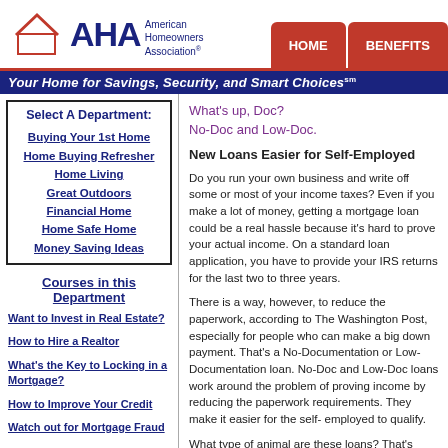[Figure (logo): American Homeowners Association (AHA) logo with house graphic and navigation tabs for HOME and BENEFITS]
Your Home for Savings, Security, and Smart Choices℠
Select A Department:
Buying Your 1st Home
Home Buying Refresher
Home Living
Great Outdoors
Financial Home
Home Safe Home
Money Saving Ideas
Courses in this Department
Want to Invest in Real Estate?
How to Hire a Realtor
What's the Key to Locking in a Mortgage?
How to Improve Your Credit
Watch out for Mortgage Fraud
What's up, Doc?
No-Doc and Low-Doc.
New Loans Easier for Self-Employed
Do you run your own business and write off some or most of your income taxes? Even if you make a lot of money, getting a mortgage loan could be a real hassle because it's hard to prove your actual income. On a standard loan application, you have to provide your IRS returns for the last two to three years.
There is a way, however, to reduce the paperwork, according to The Washington Post, especially for people who can make a big down payment. That's a No-Documentation or Low-Documentation loan. No-Doc and Low-Doc loans work around the problem of proving income by reducing the paperwork requirements. They make it easier for the self- employed to qualify.
What type of animal are these loans? That's what we're going to explore to. In a No-Doc loan of the purest form, the lender asks for nothing — no income, employment or assets. No paystubs, bank statements, pay stubs, W-2s or tax returns. But at a minimum, they do pull a credit report. In a Low-Doc loan, at least one of